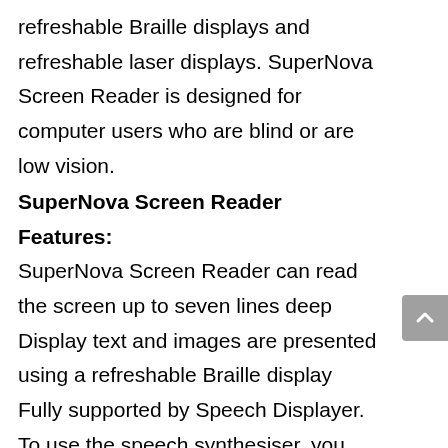refreshable Braille displays and refreshable laser displays. SuperNova Screen Reader is designed for computer users who are blind or are low vision.
SuperNova Screen Reader Features:
SuperNova Screen Reader can read the screen up to seven lines deep
Display text and images are presented using a refreshable Braille display
Fully supported by Speech Displayer. To use the speech synthesiser, you must install Speech Displayer. Speech Displayer is available from
Currently SuperNova Screen Reader has